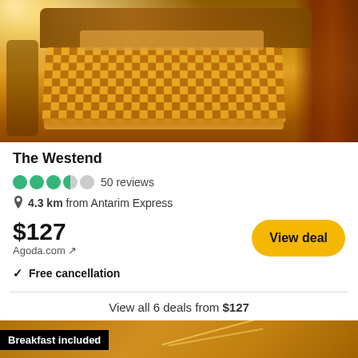[Figure (photo): Hotel room interior showing a double bed with orange/golden checkered bedspread, wooden headboard, and dark red curtains in background]
The Westend
4 circles filled, 1 half circle, 50 reviews
4.3 km from Antarim Express
$127
Agoda.com ↗
✓ Free cancellation
View all 6 deals from $127
[Figure (photo): Second hotel room interior with warm lighting, partially visible]
Breakfast included
Expedia.com ↗
$40